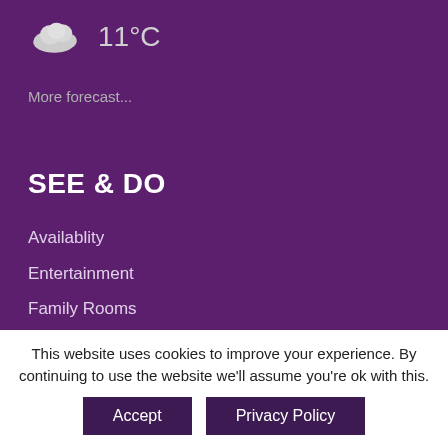[Figure (illustration): Cloud weather icon with temperature reading 11°C]
More forecast...
SEE & DO
Availablity
Entertainment
Family Rooms
Highlands Golf
Privacy Policy
Restaurants & Bars
This website uses cookies to improve your experience. By continuing to use the website we'll assume you're ok with this.
Accept
Privacy Policy